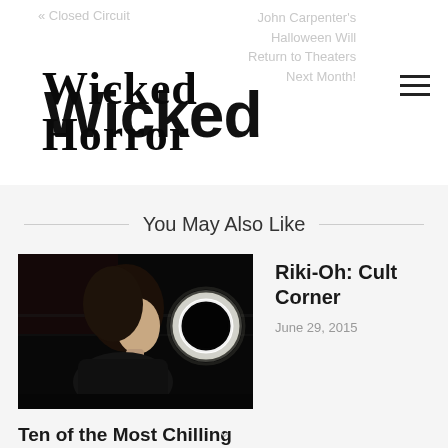Wicked Horror
« Closed Circuit
John Carpenter's Halloween Will Return to Theaters Next Month!
You May Also Like
[Figure (photo): Dark still from a horror film showing a woman's profile with a glowing ring/light orb in background]
Ten of the Most Chilling Settings in Horror
February 19, 2018
Riki-Oh: Cult Corner
June 29, 2015